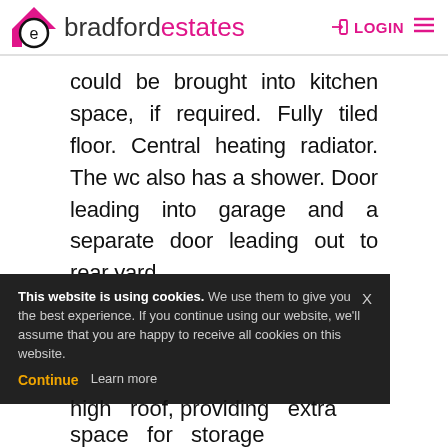[Figure (logo): Bradford Estates logo with stylized 'b' icon in pink/black and text 'bradfordestates' with LOGIN and hamburger menu on the right]
could be brought into kitchen space, if required. Fully tiled floor. Central heating radiator. The wc also has a shower. Door leading into garage and a separate door leading out to rear yard.
GARAGE:   17.55  x  12.05
This website is using cookies. We use them to give you the best experience. If you continue using our website, we'll assume that you are happy to receive all cookies on this website. Continue  Learn more
high roof, providing extra space for storage